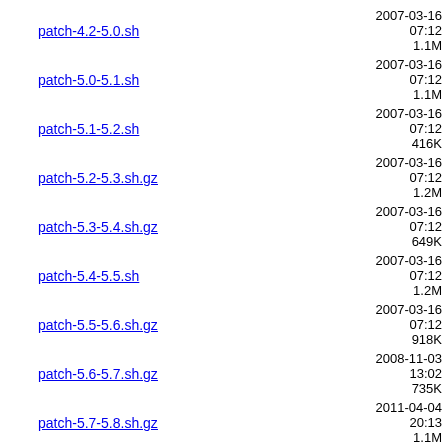patch-4.2-5.0.sh  2007-03-16 07:12  1.1M
patch-5.0-5.1.sh  2007-03-16 07:12  1.1M
patch-5.1-5.2.sh  2007-03-16 07:12  416K
patch-5.2-5.3.sh.gz  2007-03-16 07:12  1.2M
patch-5.3-5.4.sh.gz  2007-03-16 07:12  649K
patch-5.4-5.5.sh  2007-03-16 07:12  1.2M
patch-5.5-5.6.sh.gz  2007-03-16 07:12  918K
patch-5.6-5.7.sh.gz  2008-11-03 13:02  735K
patch-5.7-5.8.sh.gz  2011-04-04 20:13  1.1M
patch-5.8-5.9.sh.gz  2011-04-04 20:12  322K
patch-6.0-20150808.s..>  2015-08-10 08:22  2.1M